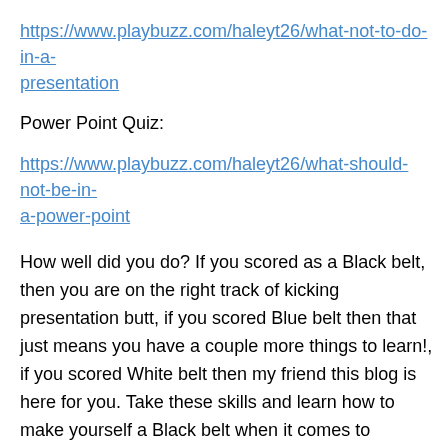https://www.playbuzz.com/haleyt26/what-not-to-do-in-a-presentation
Power Point Quiz:
https://www.playbuzz.com/haleyt26/what-should-not-be-in-a-power-point
How well did you do? If you scored as a Black belt, then you are on the right track of kicking presentation butt, if you scored Blue belt then that just means you have a couple more things to learn!, if you scored White belt then my friend this blog is here for you. Take these skills and learn how to make yourself a Black belt when it comes to presentations! Here is a video of what a good presentation looks like. Take notes and see what you notice the differences are.